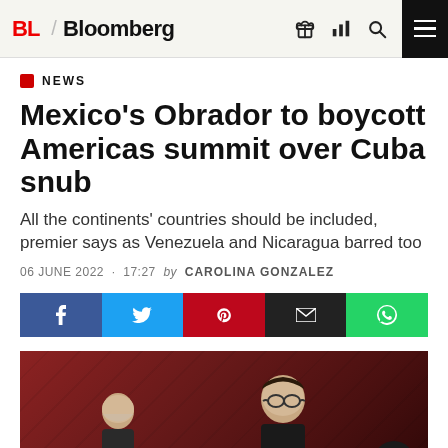BL Bloomberg
NEWS
Mexico's Obrador to boycott Americas summit over Cuba snub
All the continents' countries should be included, premier says as Venezuela and Nicaragua barred too
06 JUNE 2022 · 17:27 by CAROLINA GONZALEZ
[Figure (infographic): Social share bar with Facebook, Twitter, Pinterest, Email, and WhatsApp buttons]
[Figure (photo): Photo of two men at a press conference against a dark red background]